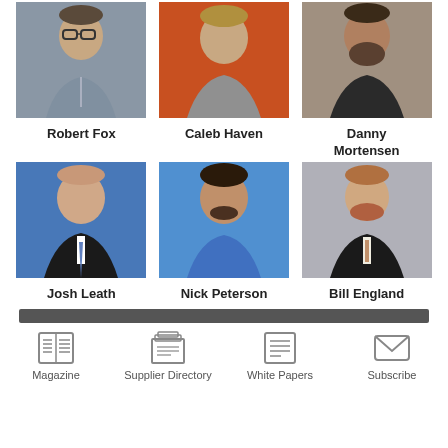[Figure (photo): Headshot of Robert Fox - man with glasses, gray shirt, gray background]
Robert Fox
[Figure (photo): Headshot of Caleb Haven - man in gray shirt, orange background]
Caleb Haven
[Figure (photo): Headshot of Danny Mortensen - bearded man in dark shirt]
Danny Mortensen
[Figure (photo): Headshot of Josh Leath - man in suit, blue background]
Josh Leath
[Figure (photo): Headshot of Nick Peterson - man in blue polo]
Nick Peterson
[Figure (photo): Headshot of Bill England - man in dark suit with tie]
Bill England
Magazine  Supplier Directory  White Papers  Subscribe